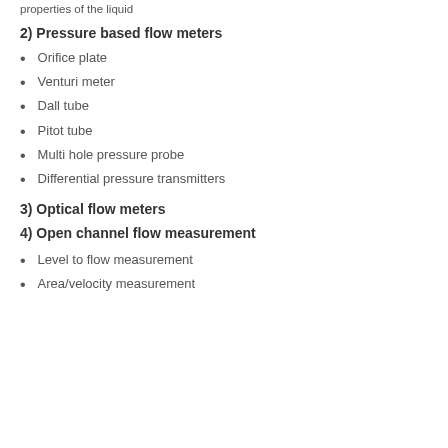properties of the liquid
2) Pressure based flow meters
Orifice plate
Venturi meter
Dall tube
Pitot tube
Multi hole pressure probe
Differential pressure transmitters
3) Optical flow meters
4) Open channel flow measurement
Level to flow measurement
Area/velocity measurement